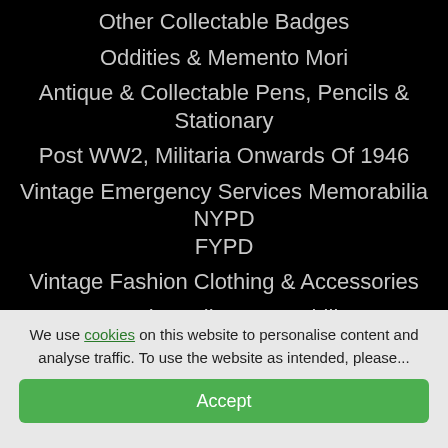Other Collectable Badges
Oddities & Memento Mori
Antique & Collectable Pens, Pencils & Stationary
Post WW2, Militaria Onwards Of 1946
Vintage Emergency Services Memorabilia NYPD FYPD
Vintage Fashion Clothing & Accessories
Royal Family Memorabilia
Nautical Memorabilia
Antiques
Collectables Coins & Currency & Non Military Medals
We use cookies on this website to personalise content and analyse traffic. To use the website as intended, please...
Accept